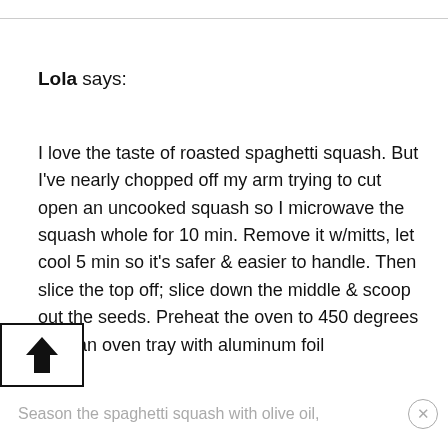Lola says:
I love the taste of roasted spaghetti squash. But I've nearly chopped off my arm trying to cut open an uncooked squash so I microwave the squash whole for 10 min. Remove it w/mitts, let cool 5 min so it's safer & easier to handle. Then slice the top off; slice down the middle & scoop out the seeds. Preheat the oven to 450 degrees Line an oven tray with aluminum foil
Season the spaghetti squash with olive oil,